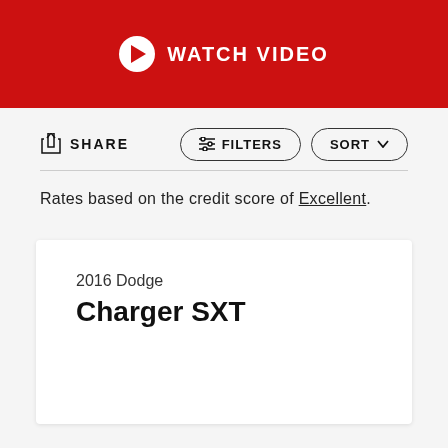[Figure (other): Red banner with play button icon and WATCH VIDEO text in white]
SHARE
FILTERS
SORT
Rates based on the credit score of Excellent.
2016 Dodge
Charger SXT